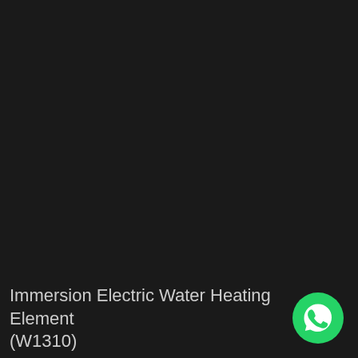[Figure (photo): Dark/black background image area showing an immersion electric water heating element product — image not visible due to very dark/black rendering]
Immersion Electric Water Heating Element (W1310)
[Figure (logo): WhatsApp green circular button icon in bottom right corner]